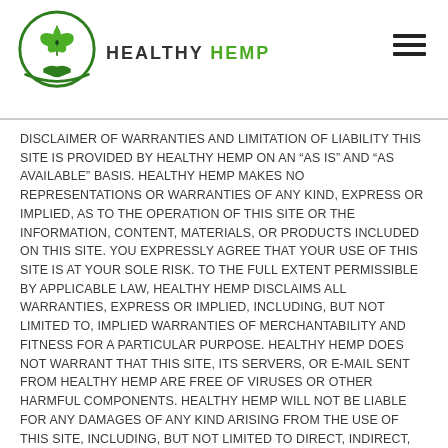[Figure (logo): Healthy Hemp logo: circular emblem with cannabis leaf and handshake, green and dark green colors, with text HEALTHY HEMP below]
DISCLAIMER OF WARRANTIES AND LIMITATION OF LIABILITY THIS SITE IS PROVIDED BY HEALTHY HEMP ON AN “AS IS” AND “AS AVAILABLE” BASIS. HEALTHY HEMP MAKES NO REPRESENTATIONS OR WARRANTIES OF ANY KIND, EXPRESS OR IMPLIED, AS TO THE OPERATION OF THIS SITE OR THE INFORMATION, CONTENT, MATERIALS, OR PRODUCTS INCLUDED ON THIS SITE. YOU EXPRESSLY AGREE THAT YOUR USE OF THIS SITE IS AT YOUR SOLE RISK. TO THE FULL EXTENT PERMISSIBLE BY APPLICABLE LAW, HEALTHY HEMP DISCLAIMS ALL WARRANTIES, EXPRESS OR IMPLIED, INCLUDING, BUT NOT LIMITED TO, IMPLIED WARRANTIES OF MERCHANTABILITY AND FITNESS FOR A PARTICULAR PURPOSE. HEALTHY HEMP DOES NOT WARRANT THAT THIS SITE, ITS SERVERS, OR E-MAIL SENT FROM HEALTHY HEMP ARE FREE OF VIRUSES OR OTHER HARMFUL COMPONENTS. HEALTHY HEMP WILL NOT BE LIABLE FOR ANY DAMAGES OF ANY KIND ARISING FROM THE USE OF THIS SITE, INCLUDING, BUT NOT LIMITED TO DIRECT, INDIRECT, INCIDENTAL, PUNITIVE, AND CONSEQUENTIAL DAMAGES. CERTAIN STATE LAWS DO NOT ALLOW